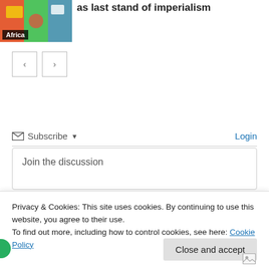[Figure (photo): Thumbnail image with colorful logos/flags with 'Africa' label overlay]
as last stand of imperialism
[Figure (other): Navigation arrows: left and right arrow buttons]
Subscribe ▾
Login
Join the discussion
Privacy & Cookies: This site uses cookies. By continuing to use this website, you agree to their use.
To find out more, including how to control cookies, see here: Cookie Policy
Close and accept